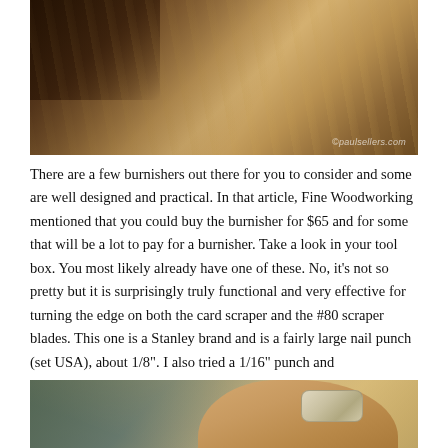[Figure (photo): Close-up photo of a metal burnisher or scraper tool on a wooden surface, showing wood grain texture. Watermark reads paulsellers.com in bottom right.]
There are a few burnishers out there for you to consider and some are well designed and practical. In that article, Fine Woodworking mentioned that you could buy the burnisher for $65 and for some that will be a lot to pay for a burnisher. Take a look in your tool box. You most likely already have one of these. No, it’s not so pretty but it is surprisingly truly functional and very effective for turning the edge on both the card scraper and the #80 scraper blades. This one is a Stanley brand and is a fairly large nail punch (set USA), about 1/8”. I also tried a 1/16” punch and
[Figure (photo): Close-up photo of a hand holding a nail punch/burnisher tool, with a ring visible on one finger. Background appears to be a dark grey surface.]